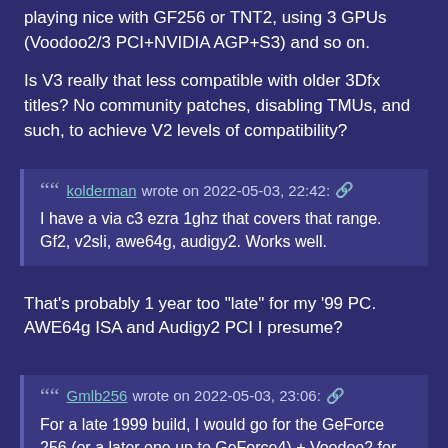playing nice with GF256 or TNT2, using 3 GPUs (Voodoo2/3 PCI+NVIDIA AGP+S3) and so on.
Is V3 really that less compatible with older 3Dfx titles? No community patches, disabling TMUs, and such, to achieve V2 levels of compatibility?
kolderman wrote on 2022-05-03, 22:42: — I have a via c3 ezra 1ghz that covers that range. Gf2, v2sli, awe64g, audigy2. Works well.
That's probably 1 year too "late" for my '99 PC. AWE64g ISA and Audigy2 PCI I presume?
Gmlb256 wrote on 2022-05-03, 23:06: — For a late 1999 build, I would go for the GeForce 256 (or a later one up to GeForce4) + Voodoo2 for best compatibility. The S3 v [...]